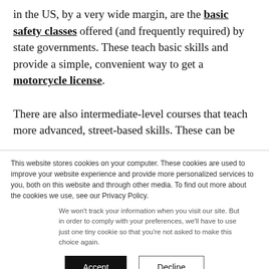in the US, by a very wide margin, are the basic safety classes offered (and frequently required) by state governments. These teach basic skills and provide a simple, convenient way to get a motorcycle license.
There are also intermediate-level courses that teach more advanced, street-based skills. These can be
This website stores cookies on your computer. These cookies are used to improve your website experience and provide more personalized services to you, both on this website and through other media. To find out more about the cookies we use, see our Privacy Policy.
We won't track your information when you visit our site. But in order to comply with your preferences, we'll have to use just one tiny cookie so that you're not asked to make this choice again.